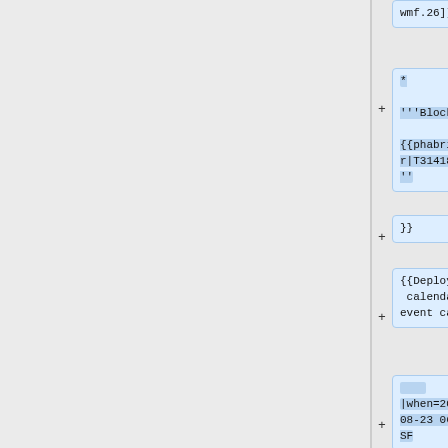wmf.26]]
* '''Blockers: {{phabricator|T314187}}'''
}}
{{Deployment calendar event card
|when=2022-08-23 06:00 SF
|length=1
|window=